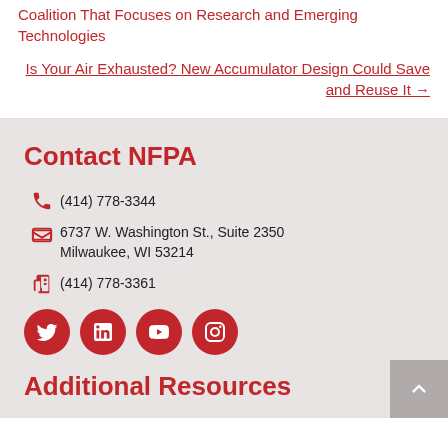Coalition That Focuses on Research and Emerging Technologies
Is Your Air Exhausted? New Accumulator Design Could Save and Reuse It →
Contact NFPA
(414) 778-3344
6737 W. Washington St., Suite 2350
Milwaukee, WI 53214
(414) 778-3361
[Figure (infographic): Social media icons: Twitter, LinkedIn, YouTube, Instagram — red circles with white icons]
Additional Resources